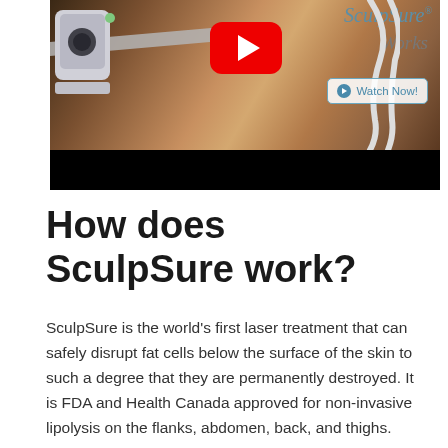[Figure (screenshot): A video thumbnail for SculpSure showing a medical device being applied to a patient's abdomen/flank area. The thumbnail shows a YouTube play button overlay, 'SculpSure Works' text in the upper right, and a 'Watch Now!' button. Below the image area is a black bar (video player controls area).]
How does SculpSure work?
SculpSure is the world's first laser treatment that can safely disrupt fat cells below the surface of the skin to such a degree that they are permanently destroyed. It is FDA and Health Canada approved for non-invasive lipolysis on the flanks, abdomen, back, and thighs. After the treatment, the destroyed fat cells are gradually...